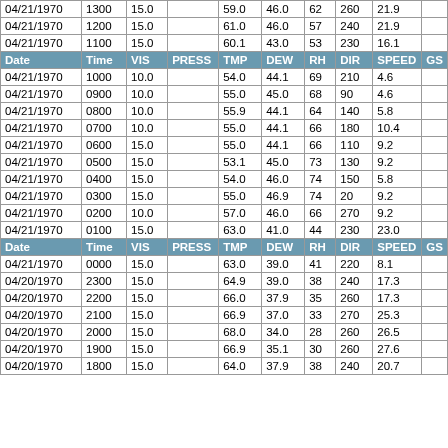| Date | Time | VIS | PRESS | TMP | DEW | RH | DIR | SPEED | GS |
| --- | --- | --- | --- | --- | --- | --- | --- | --- | --- |
| 04/21/1970 | 1300 | 15.0 |  | 59.0 | 46.0 | 62 | 260 | 21.9 |  |
| 04/21/1970 | 1200 | 15.0 |  | 61.0 | 46.0 | 57 | 240 | 21.9 |  |
| 04/21/1970 | 1100 | 15.0 |  | 60.1 | 43.0 | 53 | 230 | 16.1 |  |
| HEADER | Date | Time | VIS | PRESS | TMP | DEW | RH | DIR | SPEED | GS |
| 04/21/1970 | 1000 | 10.0 |  | 54.0 | 44.1 | 69 | 210 | 4.6 |  |
| 04/21/1970 | 0900 | 10.0 |  | 55.0 | 45.0 | 68 | 90 | 4.6 |  |
| 04/21/1970 | 0800 | 10.0 |  | 55.9 | 44.1 | 64 | 140 | 5.8 |  |
| 04/21/1970 | 0700 | 10.0 |  | 55.0 | 44.1 | 66 | 180 | 10.4 |  |
| 04/21/1970 | 0600 | 15.0 |  | 55.0 | 44.1 | 66 | 110 | 9.2 |  |
| 04/21/1970 | 0500 | 15.0 |  | 53.1 | 45.0 | 73 | 130 | 9.2 |  |
| 04/21/1970 | 0400 | 15.0 |  | 54.0 | 46.0 | 74 | 150 | 5.8 |  |
| 04/21/1970 | 0300 | 15.0 |  | 55.0 | 46.9 | 74 | 20 | 9.2 |  |
| 04/21/1970 | 0200 | 10.0 |  | 57.0 | 46.0 | 66 | 270 | 9.2 |  |
| 04/21/1970 | 0100 | 15.0 |  | 63.0 | 41.0 | 44 | 230 | 23.0 |  |
| HEADER | Date | Time | VIS | PRESS | TMP | DEW | RH | DIR | SPEED | GS |
| 04/21/1970 | 0000 | 15.0 |  | 63.0 | 39.0 | 41 | 220 | 8.1 |  |
| 04/20/1970 | 2300 | 15.0 |  | 64.9 | 39.0 | 38 | 240 | 17.3 |  |
| 04/20/1970 | 2200 | 15.0 |  | 66.0 | 37.9 | 35 | 260 | 17.3 |  |
| 04/20/1970 | 2100 | 15.0 |  | 66.9 | 37.0 | 33 | 270 | 25.3 |  |
| 04/20/1970 | 2000 | 15.0 |  | 68.0 | 34.0 | 28 | 260 | 26.5 |  |
| 04/20/1970 | 1900 | 15.0 |  | 66.9 | 35.1 | 30 | 260 | 27.6 |  |
| 04/20/1970 | 1800 | 15.0 |  | 64.0 | 37.9 | 38 | 240 | 20.7 |  |